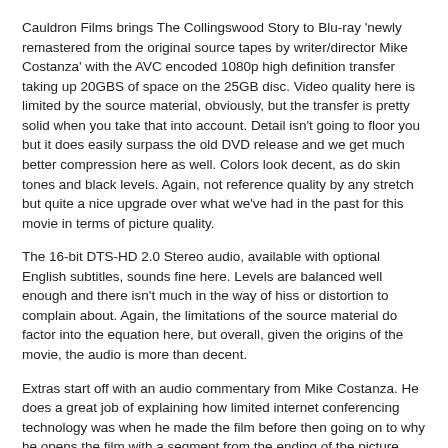Cauldron Films brings The Collingswood Story to Blu-ray 'newly remastered from the original source tapes by writer/director Mike Costanza' with the AVC encoded 1080p high definition transfer taking up 20GBS of space on the 25GB disc. Video quality here is limited by the source material, obviously, but the transfer is pretty solid when you take that into account. Detail isn't going to floor you but it does easily surpass the old DVD release and we get much better compression here as well. Colors look decent, as do skin tones and black levels. Again, not reference quality by any stretch but quite a nice upgrade over what we've had in the past for this movie in terms of picture quality.
The 16-bit DTS-HD 2.0 Stereo audio, available with optional English subtitles, sounds fine here. Levels are balanced well enough and there isn't much in the way of hiss or distortion to complain about. Again, the limitations of the source material do factor into the equation here, but overall, given the origins of the movie, the audio is more than decent.
Extras start off with an audio commentary from Mike Costanza. He does a great job of explaining how limited internet conferencing technology was when he made the film before then going on to why he opens the film with a segment from the ending of the picture, where some of the imagery used in the film comes from, the locations used in the picture, creating the title effects sequence in the first version of After Effects, how the video conferencing sequences were shot, some of the subtleties that are worked into the picture, his attempts to combine what was then modern technology with a horror film, and who he collaborated with on the film. It's a good talk, lots of information in here and Costanza has a lot to stay about the making of the movie.
Collingswood: Behind The Story is a fourteen minute featurette. This piece interviews Mike Costanza and Stephanie Dees and it covers Costanza's background in filmmaking, the themes and ideas behind the horror and...